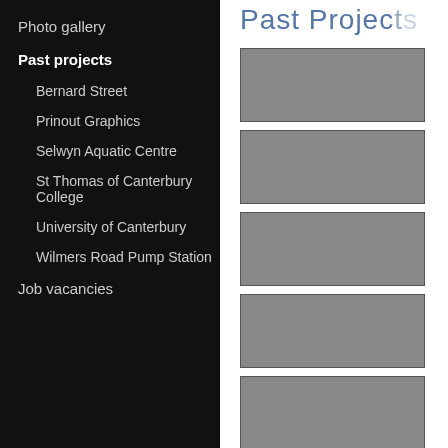Photo gallery
Past projects
Bernard Street
Prinout Graphics
Selwyn Aquatic Centre
St Thomas of Canterbury College
University of Canterbury
Wilmers Road Pump Station
Job vacancies
Past Projects
[Figure (photo): Placeholder thumbnail image 1]
[Figure (photo): Placeholder thumbnail image 2]
[Figure (photo): Placeholder thumbnail image 3]
[Figure (photo): Placeholder thumbnail image 4]
[Figure (photo): Placeholder thumbnail image 5]